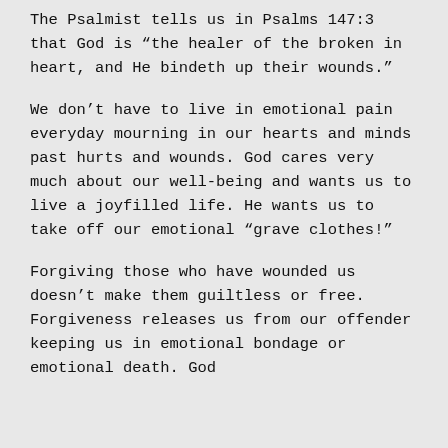The Psalmist tells us in Psalms 147:3 that God is “the healer of the broken in heart, and He bindeth up their wounds.”
We don’t have to live in emotional pain everyday mourning in our hearts and minds past hurts and wounds. God cares very much about our well-being and wants us to live a joyfilled life. He wants us to take off our emotional “grave clothes!”
Forgiving those who have wounded us doesn’t make them guiltless or free. Forgiveness releases us from our offender keeping us in emotional bondage or emotional death. God